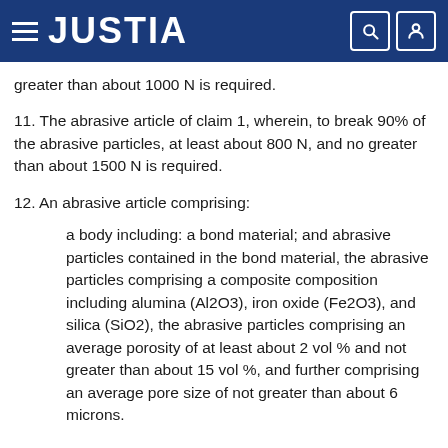JUSTIA
greater than about 1000 N is required.
11. The abrasive article of claim 1, wherein, to break 90% of the abrasive particles, at least about 800 N, and no greater than about 1500 N is required.
12. An abrasive article comprising:
a body including: a bond material; and abrasive particles contained in the bond material, the abrasive particles comprising a composite composition including alumina (Al2O3), iron oxide (Fe2O3), and silica (SiO2), the abrasive particles comprising an average porosity of at least about 2 vol % and not greater than about 15 vol %, and further comprising an average pore size of not greater than about 6 microns.